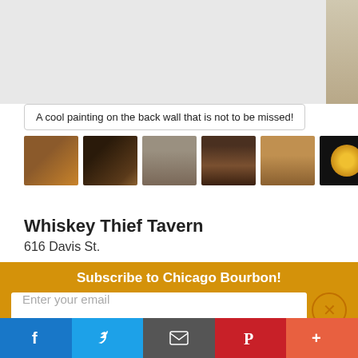[Figure (photo): Top image area showing partial view of a bar/tavern scene with a bottle visible at top right]
A cool painting on the back wall that is not to be missed!
[Figure (photo): Thumbnail strip of 6 photos from Whiskey Thief Tavern: bottle, dark bar interior, vintage photo, bookshelves, doorway, golden circle/light]
Whiskey Thief Tavern
616 Davis St.
Subscribe to Chicago Bourbon!
Enter your email